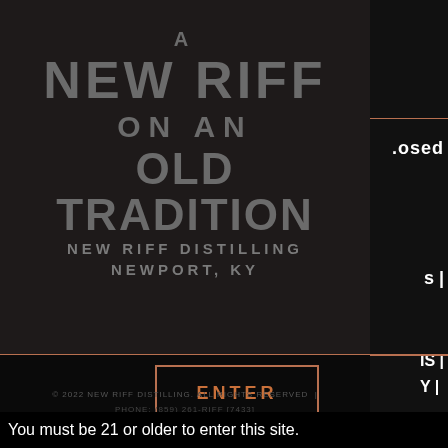A NEW RIFF ON AN OLD TRADITION
NEW RIFF DISTILLING
NEWPORT, KY
ENTER
© 2022 NEW RIFF DISTILLING. ALL RIGHTS RESERVED
You must be 21 or older to enter this site.